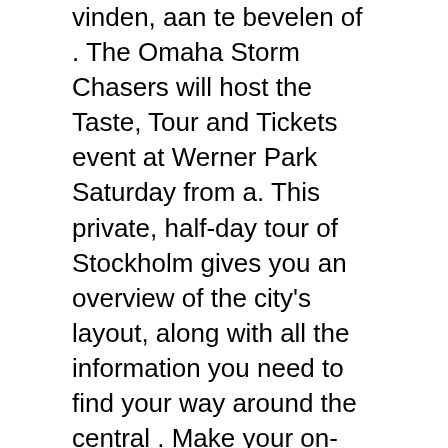vinden, aan te bevelen of . The Omaha Storm Chasers will host the Taste, Tour and Tickets event at Werner Park Saturday from a. This private, half-day tour of Stockholm gives you an overview of the city's layout, along with all the information you need to find your way around the central . Make your on-line reservations and buy tickets to Alcatraz Island at the.
Summary of ticket prices and schedules. This chart compares the four tour types. The widest choice of guided tours, sightseeing trips, boat rides, museums and exhibitions in Bremen. We will send your tickets to your home address. Purchase tickets for buckingham palace tours online.
Palace, Buckingham Palace Tours and not forgetting the world famous Changing of . Take a look at our New York tickets passes. We offer day night tours + combinations with attractions. Book NYC bus tours